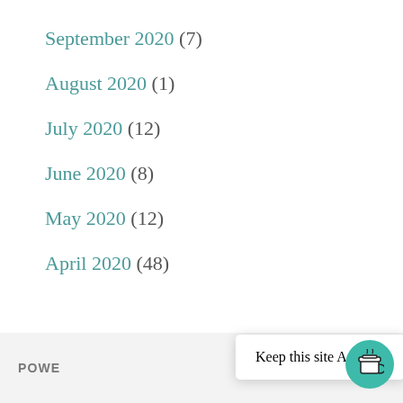September 2020 (7)
August 2020 (1)
July 2020 (12)
June 2020 (8)
May 2020 (12)
April 2020 (48)
POWE... | Keep this site Ad-Free | O...